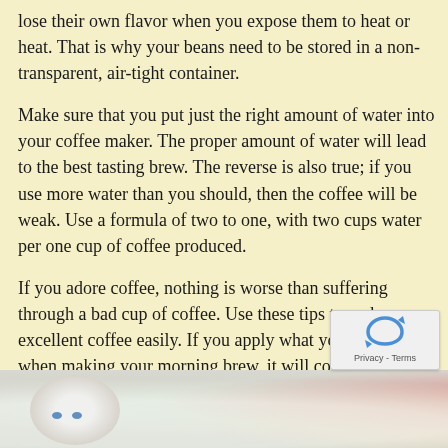lose their own flavor when you expose them to heat or heat. That is why your beans need to be stored in a non-transparent, air-tight container.
Make sure that you put just the right amount of water into your coffee maker. The proper amount of water will lead to the best tasting brew. The reverse is also true; if you use more water than you should, then the coffee will be weak. Use a formula of two to one, with two cups water per one cup of coffee produced.
If you adore coffee, nothing is worse than suffering through a bad cup of coffee. Use these tips to make excellent coffee easily. If you apply what you've learned when making your morning brew, it will come out great every time.
[Figure (photo): A blurred photo showing what appears to be a small white doll or figure with blue eyes, with a colorful blurred background of greens, reds, and oranges.]